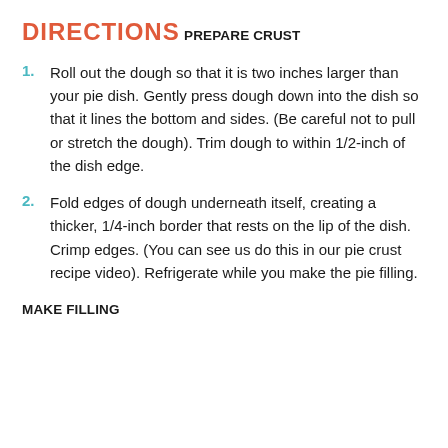DIRECTIONS
PREPARE CRUST
Roll out the dough so that it is two inches larger than your pie dish. Gently press dough down into the dish so that it lines the bottom and sides. (Be careful not to pull or stretch the dough). Trim dough to within 1/2-inch of the dish edge.
Fold edges of dough underneath itself, creating a thicker, 1/4-inch border that rests on the lip of the dish. Crimp edges. (You can see us do this in our pie crust recipe video). Refrigerate while you make the pie filling.
MAKE FILLING